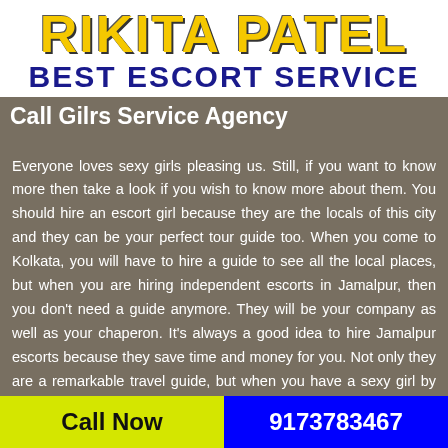RIKITA PATEL BEST ESCORT SERVICE
Call Gilrs Service Agency
Everyone loves sexy girls pleasing us. Still, if you want to know more then take a look if you wish to know more about them. You should hire an escort girl because they are the locals of this city and they can be your perfect tour guide too. When you come to Kolkata, you will have to hire a guide to see all the local places, but when you are hiring independent escorts in Jamalpur, then you don't need a guide anymore. They will be your company as well as your chaperon. It's always a good idea to hire Jamalpur escorts because they save time and money for you. Not only they are a remarkable travel guide, but when you have a sexy girl by your
Call Now   9173783467